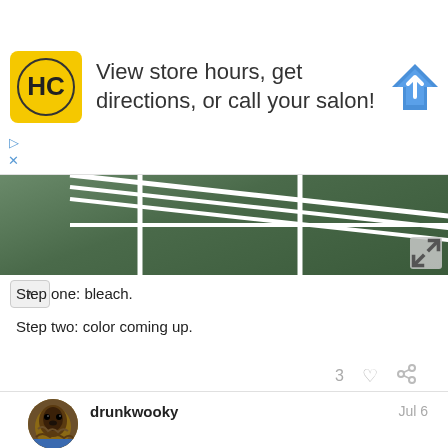[Figure (screenshot): Ad banner for Hair Club (HC) with yellow logo, text 'View store hours, get directions, or call your salon!', and a blue navigation arrow icon]
[Figure (photo): Partial photo of a white metal frame structure on dark grass, with collapse/expand controls]
Step one: bleach.
Step two: color coming up.
3 ♡ (link icon)
drunkwooky   Jul 6
Color Led Zep:
[Figure (photo): Bottom partial photo of white metal frame structure on green grass with colored fabric items visible, with page counter 1/26 overlay]